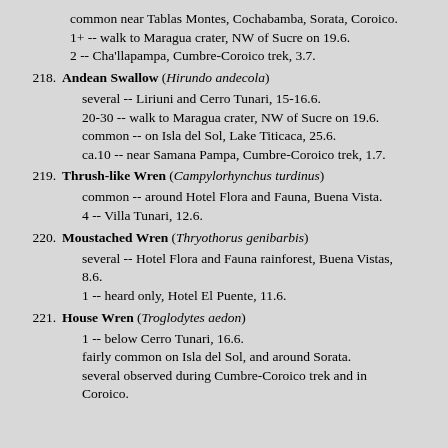common near Tablas Montes, Cochabamba, Sorata, Coroico.
1+ -- walk to Maragua crater, NW of Sucre on 19.6.
2 -- Cha'llapampa, Cumbre-Coroico trek, 3.7.
218. Andean Swallow (Hirundo andecola)
several -- Liriuni and Cerro Tunari, 15-16.6.
20-30 -- walk to Maragua crater, NW of Sucre on 19.6.
common -- on Isla del Sol, Lake Titicaca, 25.6.
ca.10 -- near Samana Pampa, Cumbre-Coroico trek, 1.7.
219. Thrush-like Wren (Campylorhynchus turdinus)
common -- around Hotel Flora and Fauna, Buena Vista.
4 -- Villa Tunari, 12.6.
220. Moustached Wren (Thryothorus genibarbis)
several -- Hotel Flora and Fauna rainforest, Buena Vistas, 8.6.
1 -- heard only, Hotel El Puente, 11.6.
221. House Wren (Troglodytes aedon)
1 -- below Cerro Tunari, 16.6.
fairly common on Isla del Sol, and around Sorata.
several observed during Cumbre-Coroico trek and in Coroico.